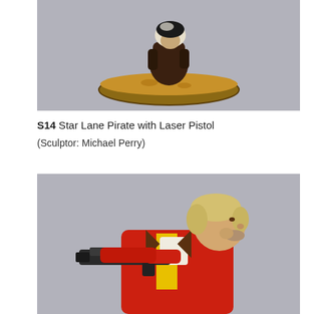[Figure (photo): Painted miniature figurine of a Star Lane Pirate, shown from above on a sandy/earthy textured round base. The figure appears to be crouching or kneeling, wearing dark clothing with a white/light colored head covering. Grey background.]
S14 Star Lane Pirate with Laser Pistol

(Sculptor: Michael Perry)
[Figure (photo): Painted miniature figurine of a pirate character holding a laser pistol/gun aimed to the right. The figure has blonde/light hair, wears a red and yellow jacket, and has a weathered, older face. Grey background.]